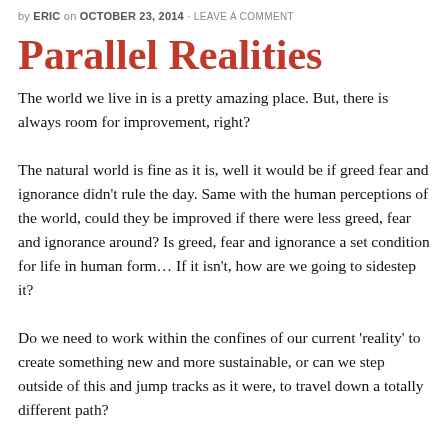by ERIC on OCTOBER 23, 2014 · LEAVE A COMMENT
Parallel Realities
The world we live in is a pretty amazing place. But, there is always room for improvement, right?
The natural world is fine as it is, well it would be if greed fear and ignorance didn't rule the day. Same with the human perceptions of the world, could they be improved if there were less greed, fear and ignorance around? Is greed, fear and ignorance a set condition for life in human form… If it isn't, how are we going to sidestep it?
Do we need to work within the confines of our current 'reality' to create something new and more sustainable, or can we step outside of this and jump tracks as it were, to travel down a totally different path?
Of course, if anyone has already jumped tracks and exists in a parallel reality how would we possibly know? Without feedback we assume, rightly or wrongly, that there is only one path, make the most / best of it while you walk it. Unless you know anyone…